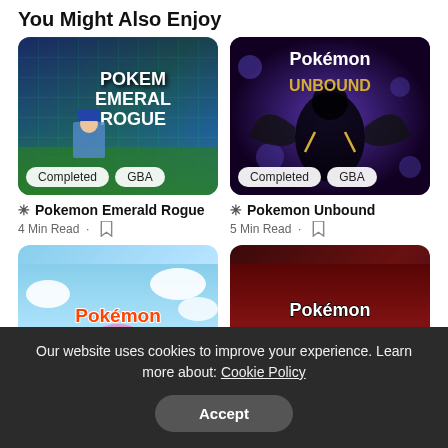You Might Also Enjoy
[Figure (screenshot): Pokemon Emerald Rogue game card with pixel art character, green grid background, badges: Completed, GBA]
[Figure (screenshot): Pokemon Unbound game card with dark shadowy figure on purple background, badges: Completed, GBA]
✳ Pokemon Emerald Rogue
4 Min Read
✳ Pokemon Unbound
5 Min Read
[Figure (screenshot): Pokemon Shinobi game card with blue sky background and colorful title text]
[Figure (screenshot): Pokemon Violet game card with dark red background and yellow title text]
Our website uses cookies to improve your experience. Learn more about: Cookie Policy